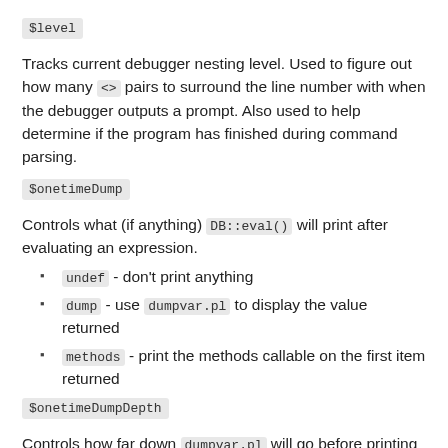$level
Tracks current debugger nesting level. Used to figure out how many <> pairs to surround the line number with when the debugger outputs a prompt. Also used to help determine if the program has finished during command parsing.
$onetimeDump
Controls what (if anything) DB::eval() will print after evaluating an expression.
undef - don't print anything
dump - use dumpvar.pl to display the value returned
methods - print the methods callable on the first item returned
$onetimeDumpDepth
Controls how far down dumpvar.pl will go before printing ... while dumping a structure. Numeric. If